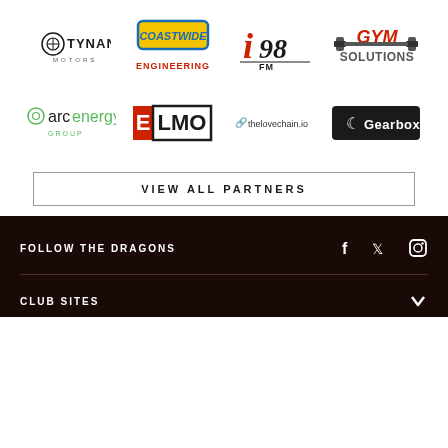[Figure (logo): Tynan Motors logo — circular emblem with brand name TYNAN in large caps and MOTORS subtitle]
[Figure (logo): Coastwide Engineering logo — yellow badge with blue border and red ENGINEERING text below]
[Figure (logo): i98 FM radio station logo — italic red i98 with FM text]
[Figure (logo): GYM SOLUTIONS logo — bold red italic text with SOLUTIONS subtitle]
[Figure (logo): arc energy group logo — green circle icon with arc energy in light font]
[Figure (logo): ELMO logo — red E block followed by LMO in outlined block]
[Figure (logo): thelovechain.io logo — pink chain icon with text]
[Figure (logo): Gearbox logo — white text on black background with crescent icon]
VIEW ALL PARTNERS
FOLLOW THE DRAGONS
CLUB SITES